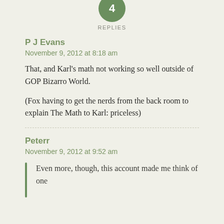[Figure (other): Green circle badge with a number (partially visible at top), with 'REPLIES' label below]
P J Evans
November 9, 2012 at 8:18 am
That, and Karl’s math not working so well outside of GOP Bizarro World.

(Fox having to get the nerds from the back room to explain The Math to Karl: priceless)
Peterr
November 9, 2012 at 9:52 am
Even more, though, this account made me think of one